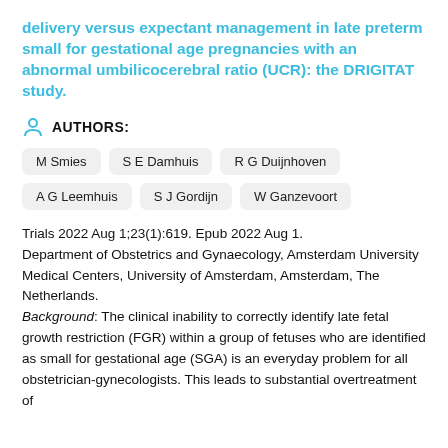delivery versus expectant management in late preterm small for gestational age pregnancies with an abnormal umbilicocerebral ratio (UCR): the DRIGITAT study.
AUTHORS:
M Smies
S E Damhuis
R G Duijnhoven
A G Leemhuis
S J Gordijn
W Ganzevoort
Trials 2022 Aug 1;23(1):619. Epub 2022 Aug 1. Department of Obstetrics and Gynaecology, Amsterdam University Medical Centers, University of Amsterdam, Amsterdam, The Netherlands. Background: The clinical inability to correctly identify late fetal growth restriction (FGR) within a group of fetuses who are identified as small for gestational age (SGA) is an everyday problem for all obstetrician-gynecologists. This leads to substantial overtreatment of